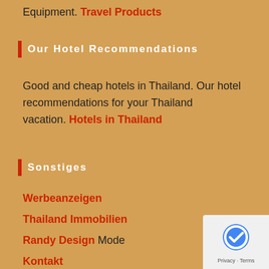Equipment. Travel Products
Our Hotel Recommendations
Good and cheap hotels in Thailand. Our hotel recommendations for your Thailand vacation. Hotels in Thailand
Sonstiges
Werbeanzeigen
Thailand Immobilien
Randy Design Mode
Kontakt